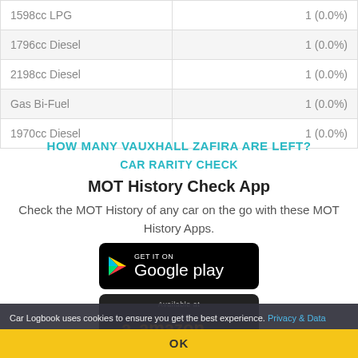| Engine | Count |
| --- | --- |
| 1598cc LPG | 1 (0.0%) |
| 1796cc Diesel | 1 (0.0%) |
| 2198cc Diesel | 1 (0.0%) |
| Gas Bi-Fuel | 1 (0.0%) |
| 1970cc Diesel | 1 (0.0%) |
HOW MANY VAUXHALL ZAFIRA ARE LEFT?
CAR RARITY CHECK
MOT History Check App
Check the MOT History of any car on the go with these MOT History Apps.
[Figure (logo): Get it on Google Play button]
[Figure (logo): Available at Amazon button]
Car Logbook uses cookies to ensure you get the best experience. Privacy & Data
OK